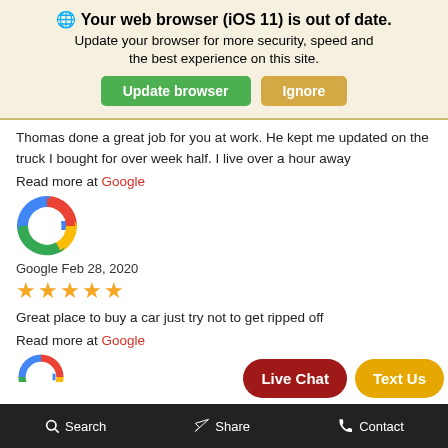🌐 Your web browser (iOS 11) is out of date. Update your browser for more security, speed and the best experience on this site.
Thomas done a great job for you at work. He kept me updated on the truck I bought for over week half. I live over a hour away
Read more at Google
[Figure (logo): Google 'G' logo in red, yellow, green, blue colors]
Google Feb 28, 2020
★★★★★ (5 orange stars)
Great place to buy a car just try not to get ripped off
Read more at Google
[Figure (logo): Partial Google 'G' logo visible at bottom]
Search  Share  Contact